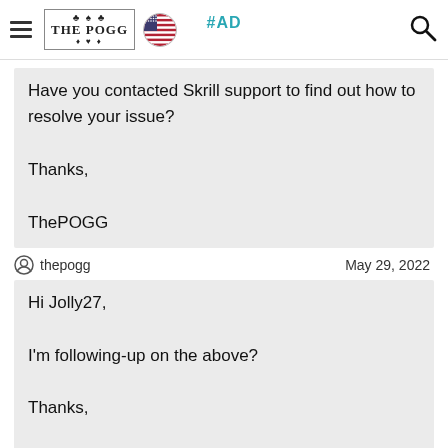THE POGG | #AD
Have you contacted Skrill support to find out how to resolve your issue?

Thanks,

ThePOGG
thepogg   May 29, 2022
Hi Jolly27,

I'm following-up on the above?

Thanks,

ThePOGG
thepogg   June 4, 2022